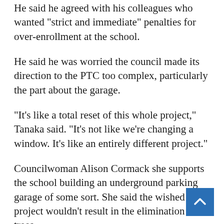He said he agreed with his colleagues who wanted “strict and immediate” penalties for over-enrollment at the school.
He said he was worried the council made its direction to the PTC too complex, particularly the part about the garage.
“It’s like a total reset of this whole project,” Tanaka said. “It’s not like we’re changing a window. It’s like an entirely different project.”
Councilwoman Alison Cormack she supports the school building an underground parking garage of some sort. She said the wished the project wouldn’t result in the elimination of trees.
“I do think there’s been an extraordinary effort on the part of the applicant and the (city) staff to protect as